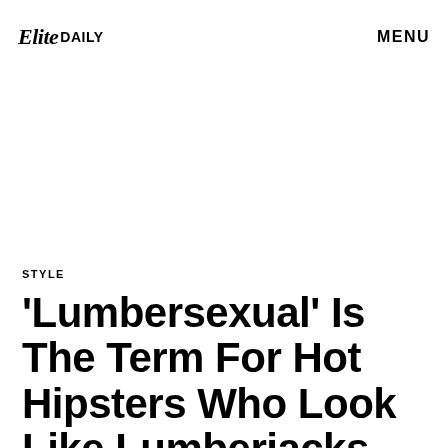Elite DAILY   MENU
STYLE
'Lumbersexual' Is The Term For Hot Hipsters Who Look Like Lumberjacks